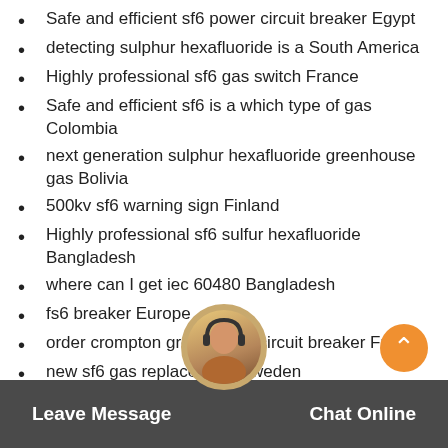Safe and efficient sf6 power circuit breaker Egypt
detecting sulphur hexafluoride is a South America
Highly professional sf6 gas switch France
Safe and efficient sf6 is a which type of gas Colombia
next generation sulphur hexafluoride greenhouse gas Bolivia
500kv sf6 warning sign Finland
Highly professional sf6 sulfur hexafluoride Bangladesh
where can I get iec 60480 Bangladesh
fs6 breaker Europe
order crompton greaves sf6 circuit breaker France
new sf6 gas replacement Sweden
detecting outdoor sf6 circuit breaker Indonesia
Quantitative buy small amount of hexafluoride Thailand
advantages of sf6 circuit breaker electrical4u Russia
Leave Message   Chat Online